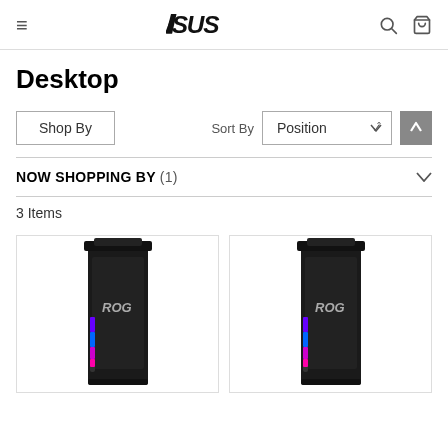ASUS - Desktop
Desktop
Shop By
Sort By Position
NOW SHOPPING BY (1)
3 Items
[Figure (photo): ROG gaming desktop tower with RGB lighting strip on the left side, dark/black chassis with ROG logo]
[Figure (photo): ROG gaming desktop tower with RGB lighting strip on the left side, dark/black chassis with ROG logo, same model as left]